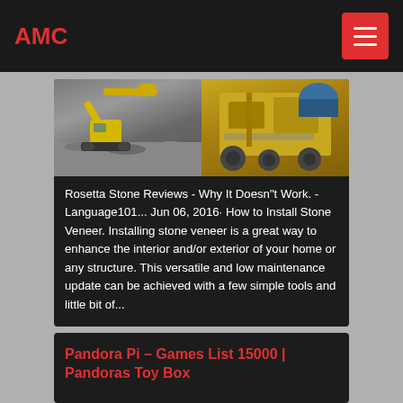AMC
[Figure (photo): Two-panel image: left shows a yellow excavator on gravel/stone site, right shows yellow industrial mining/crushing equipment]
Rosetta Stone Reviews - Why It Doesn"t Work. - Language101... Jun 06, 2016· How to Install Stone Veneer. Installing stone veneer is a great way to enhance the interior and/or exterior of your home or any structure. This versatile and low maintenance update can be achieved with a few simple tools and little bit of...
Pandora Pi – Games List 15000 | Pandoras Toy Box